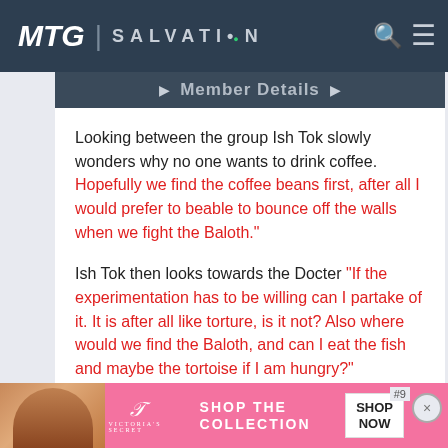MTG SALVATION
Member Details
Looking between the group Ish Tok slowly wonders why no one wants to drink coffee. Hopefully we find the coffee beans first, after all I would prefer to beable to bounce off the walls when we fight the Baloth."

Ish Tok then looks towards the Docter "If the experimentation has to be willing can I partake of it. It is after all like torture, is it not? Also where would we find the Baloth, and can I eat the fish and maybe the tortoise if I am hungry?"
RedDwarfian  Oct 4, 2009
[Figure (other): Victoria's Secret advertisement banner with model photo and 'SHOP THE COLLECTION' text with SHOP NOW button]